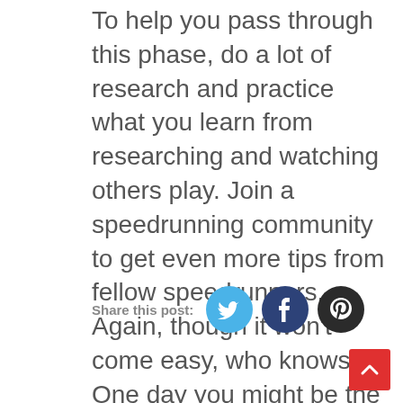To help you pass through this phase, do a lot of research and practice what you learn from researching and watching others play. Join a speedrunning community to get even more tips from fellow speedrunners. Again, though it won't come easy, who knows? One day you might be the world record speedrunner.
Share this post:
[Figure (infographic): Social sharing buttons: Twitter (light blue circle), Facebook (dark navy circle), Pinterest (dark/black circle)]